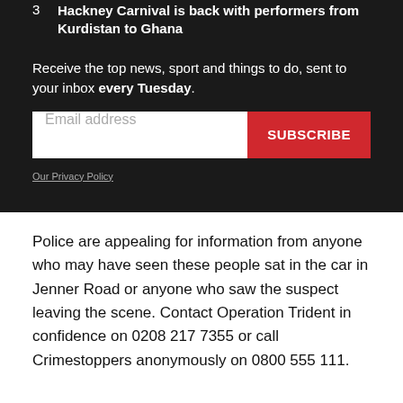3  Hackney Carnival is back with performers from Kurdistan to Ghana
Receive the top news, sport and things to do, sent to your inbox every Tuesday.
Email address [input field] SUBSCRIBE [button]
Our Privacy Policy
Police are appealing for information from anyone who may have seen these people sat in the car in Jenner Road or anyone who saw the suspect leaving the scene. Contact Operation Trident in confidence on 0208 217 7355 or call Crimestoppers anonymously on 0800 555 111.